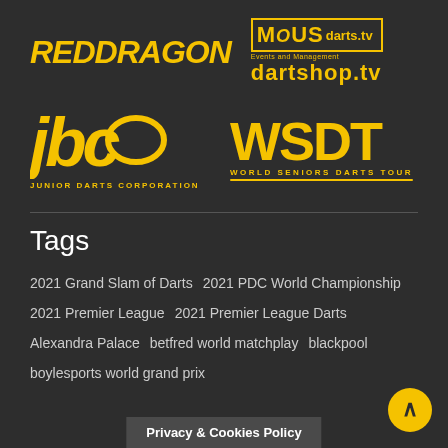[Figure (logo): Red Dragon logo in yellow italic bold text, plus MODUS darts.tv and dartshop.tv logos in yellow]
[Figure (logo): JDC Junior Darts Corporation logo and WSDT World Seniors Darts Tour logo, both in yellow]
Tags
2021 Grand Slam of Darts
2021 PDC World Championship
2021 Premier League
2021 Premier League Darts
Alexandra Palace
betfred world matchplay
blackpool
boylesports world grand prix
Privacy & Cookies Policy